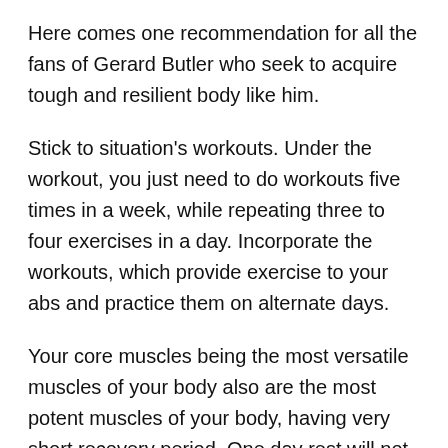Here comes one recommendation for all the fans of Gerard Butler who seek to acquire tough and resilient body like him.
Stick to situation's workouts. Under the workout, you just need to do workouts five times in a week, while repeating three to four exercises in a day. Incorporate the workouts, which provide exercise to your abs and practice them on alternate days.
Your core muscles being the most versatile muscles of your body also are the most potent muscles of your body, having very short recovery period. One day rest will not only have them time to recuperate, but will also have them enhance their muscle mass.
Apart from them, execute the exercises targeted on your lower back muscles. Lower back muscles are usually left